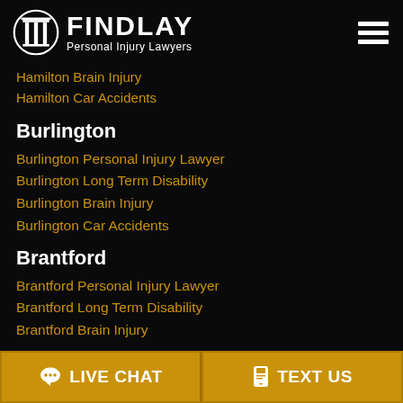[Figure (logo): Findlay Personal Injury Lawyers logo with column icon in circle and text FINDLAY Personal Injury Lawyers, plus hamburger menu icon]
Hamilton Brain Injury
Hamilton Car Accidents
Burlington
Burlington Personal Injury Lawyer
Burlington Long Term Disability
Burlington Brain Injury
Burlington Car Accidents
Brantford
Brantford Personal Injury Lawyer
Brantford Long Term Disability
Brantford Brain Injury
LIVE CHAT   TEXT US